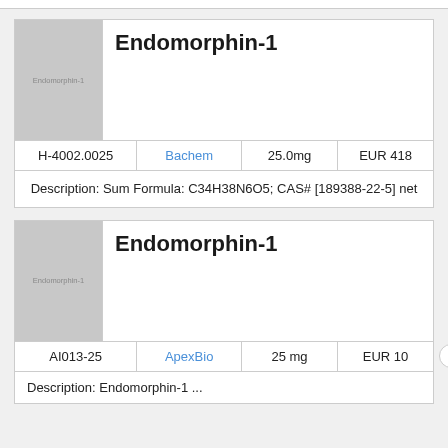| Image | Name | Code | Supplier | Amount | Price |
| --- | --- | --- | --- | --- | --- |
| Endomorphin-1 | Endomorphin-1 | H-4002.0025 | Bachem | 25.0mg | EUR 418 |
| Endomorphin-1 | Endomorphin-1 | AI013-25 | ApexBio | 25 mg | EUR 10... |
Description: Sum Formula: C34H38N6O5; CAS# [189388-22-5] net
Description: Endomorphin-1 ...